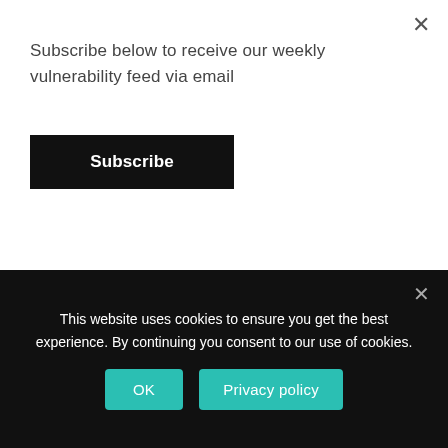Subscribe below to receive our weekly vulnerability feed via email
[Figure (other): Black Subscribe button]
victim's identity and tax returns.
IcedID Botnet | The Iceman Goes Phishing for US Tax Returns
This website uses cookies to ensure you get the best experience. By continuing you consent to our use of cookies.